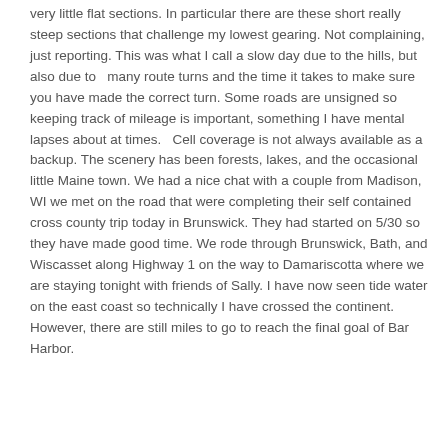very little flat sections. In particular there are these short really steep sections that challenge my lowest gearing. Not complaining, just reporting. This was what I call a slow day due to the hills, but also due to  many route turns and the time it takes to make sure you have made the correct turn. Some roads are unsigned so keeping track of mileage is important, something I have mental lapses about at times.  Cell coverage is not always available as a backup. The scenery has been forests, lakes, and the occasional little Maine town. We had a nice chat with a couple from Madison, WI we met on the road that were completing their self contained cross county trip today in Brunswick. They had started on 5/30 so they have made good time. We rode through Brunswick, Bath, and Wiscasset along Highway 1 on the way to Damariscotta where we are staying tonight with friends of Sally. I have now seen tide water on the east coast so technically I have crossed the continent. However, there are still miles to go to reach the final goal of Bar Harbor.